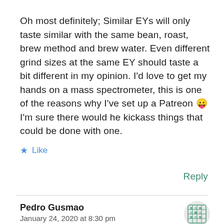Oh most definitely; Similar EYs will only taste similar with the same bean, roast, brew method and brew water. Even different grind sizes at the same EY should taste a bit different in my opinion. I'd love to get my hands on a mass spectrometer, this is one of the reasons why I've set up a Patreon 😛 I'm sure there would he kickass things that could be done with one.
★ Like
Reply
Pedro Gusmao
January 24, 2020 at 8:30 pm